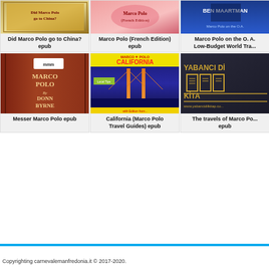[Figure (photo): Book cover: Did Marco Polo go to China? - decorative colorful cover]
Did Marco Polo go to China?
epub
[Figure (photo): Book cover: Marco Polo (French Edition) - pink/red decorative cover]
Marco Polo (French Edition)
epub
[Figure (photo): Book cover: Marco Polo on the O.A. Low-Budget World Tra... - blue cover with Ben Maartman]
Marco Polo on the O. A. Low-Budget World Tra...
[Figure (photo): Book cover: Messer Marco Polo - brown spine book cover by Donn Byrne]
Messer Marco Polo epub
[Figure (photo): Book cover: California (Marco Polo Travel Guides) - Golden Gate Bridge cover]
California (Marco Polo Travel Guides) epub
[Figure (photo): Book cover: The travels of Marco Po... epub - dark cover with Yabanci Dil Kitap text]
The travels of Marco Po...
epub
Copyrighting carnevalemanfredonia.it © 2017-2020.